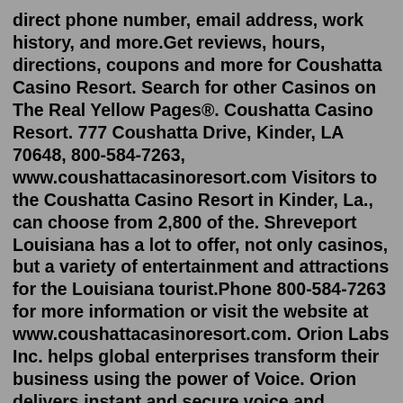direct phone number, email address, work history, and more.Get reviews, hours, directions, coupons and more for Coushatta Casino Resort. Search for other Casinos on The Real Yellow Pages®. Coushatta Casino Resort. 777 Coushatta Drive, Kinder, LA 70648, 800-584-7263, www.coushattacasinoresort.com Visitors to the Coushatta Casino Resort in Kinder, La., can choose from 2,800 of the. Shreveport Louisiana has a lot to offer, not only casinos, but a variety of entertainment and attractions for the Louisiana tourist.Phone 800-584-7263 for more information or visit the website at www.coushattacasinoresort.com. Orion Labs Inc. helps global enterprises transform their business using the power of Voice. Orion delivers instant and secure voice and location communication on its award-winning Voice Platform which includes AI Workflows, advanced location services ...Gender Breakdown for Coushatta Casino and Resort. Female. 72.7 %. Avg. Hourly Rate: $10 - $16. Male. 27.3 %. Avg. Hourly Rate: $10 - $16. This data is based on 44 ...